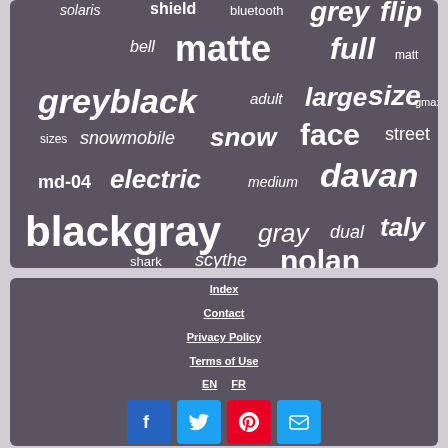[Figure (infographic): Word cloud with helmet-related terms on dark purple/grey background including: solaris, shield, bluetooth, grey, flip, bell, matte, full, matt, greyblack, adult, large, size, gmax, sizes, snowmobile, snow, face, street, md-04, electric, medium, davan, blackgray, gray, dual, taly, shark, scythe, nolan]
Index
Contact
Privacy Policy
Terms of Use
EN   FR
[Figure (infographic): Social media buttons: Facebook (blue), Twitter (blue), Pinterest (red), Email (blue)]